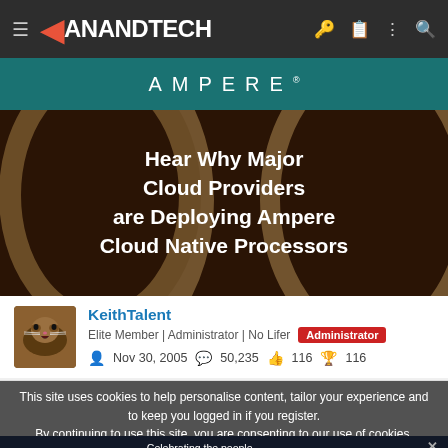AnandTech
[Figure (photo): Ampere advertisement banner showing 'AMPERE' logo and text 'Hear Why Major Cloud Providers are Deploying Ampere Cloud Native Processors' over a dark data center background with decorative arcs]
KeithTalent
Elite Member | Administrator | No Lifer  Administrator
Nov 30, 2005    50,235    116    116
This site uses cookies to help personalise content, tailor your experience and to keep you logged in if you register.
By continuing to use this site, you are consenting to our use of cookies.
[Figure (photo): Tech Leadership Awards 2022 advertisement banner: 'Celebrating the people and products shaping the future of media technology' with NOMINATE TODAY button]